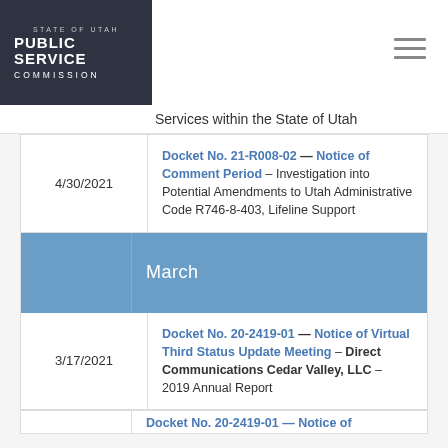[Figure (logo): State of Utah Public Service Commission logo - white text on dark background]
Services within the State of Utah
| Date | Filing |
| --- | --- |
| 4/30/2021 | Docket No. 21-R008-02 — Notice of Comment Period – Investigation into Potential Amendments to Utah Administrative Code R746-8-403, Lifeline Support |
| March |  |
| 3/17/2021 | Docket No. 20-2419-01 — Notice of Virtual Third Status Update Meeting – Direct Communications Cedar Valley, LLC – 2019 Annual Report |
|  | Docket No. 20-2419-01 — Notice of... |